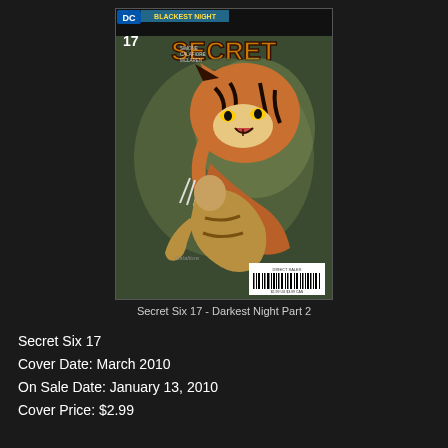[Figure (illustration): Comic book cover of Secret Six issue 17, part of Blackest Night crossover. Cover shows a large roaring tiger attacking a muscular figure in gold/brown costume. Title reads 'Secret Six' in large stylized letters with a skull logo. DC Comics logo and 'Blackest Night' banner at top. Issue number 17 shown. Creator credits visible. Barcode in lower right corner.]
Secret Six 17 - Darkest Night Part 2
Secret Six 17
Cover Date: March 2010
On Sale Date: January 13, 2010
Cover Price: $2.99

Title: "Danse Macabre Part 2"